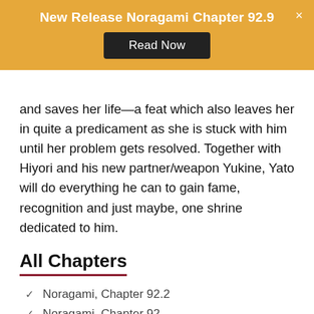New Release Noragami Chapter 92.9
and saves her life—a feat which also leaves her in quite a predicament as she is stuck with him until her problem gets resolved. Together with Hiyori and his new partner/weapon Yukine, Yato will do everything he can to gain fame, recognition and just maybe, one shrine dedicated to him.
All Chapters
Noragami, Chapter 92.2
Noragami, Chapter 92
Noragami, Chapter 91.2
Noragami, Chapter 91
Noragami, Chapter 90.2
Noragami, Chapter 90